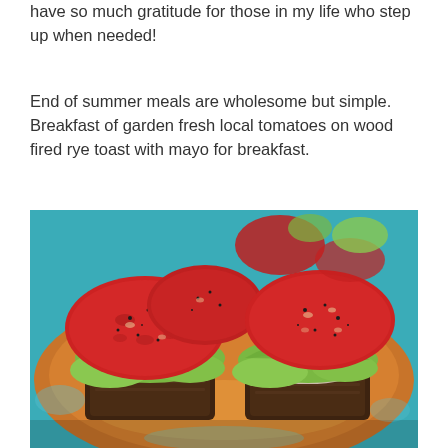have so much gratitude for those in my life who step up when needed!
End of summer meals are wholesome but simple. Breakfast of garden fresh local tomatoes on wood fired rye toast with mayo for breakfast.
[Figure (photo): Two open-faced sandwiches on dark rye toast topped with lettuce and large sliced garden tomatoes seasoned with black pepper, served on a terracotta-colored plate on a blue surface.]